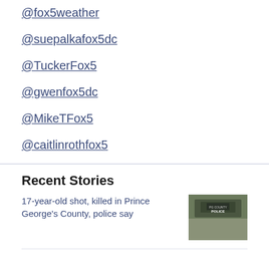@fox5weather
@suepalkafox5dc
@TuckerFox5
@gwenfox5dc
@MikeTFox5
@caitlinrothfox5
Recent Stories
17-year-old shot, killed in Prince George's County, police say
[Figure (photo): Police car photo related to Prince George's County shooting story]